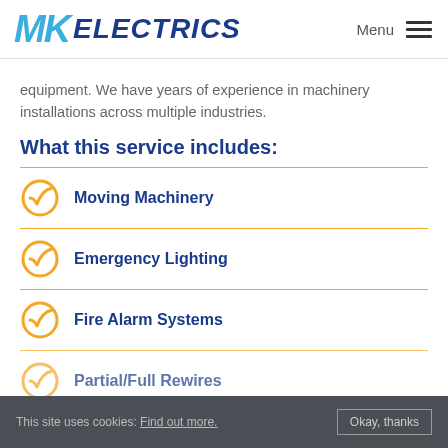MK ELECTRICS | Menu
equipment. We have years of experience in machinery installations across multiple industries.
What this service includes:
Moving Machinery
Emergency Lighting
Fire Alarm Systems
Partial/Full Rewires
This site uses cookies: Find out more.  Okay, thanks